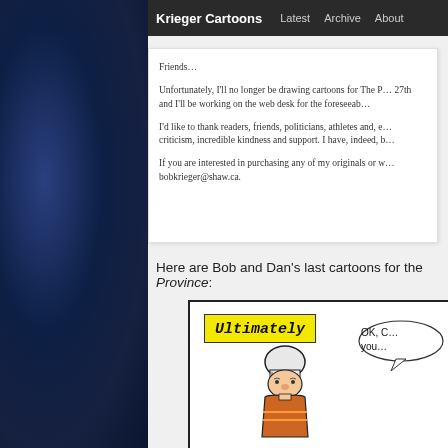Krieger Cartoons — Latest | Archive | About
Friends…

Unfortunately, I'll no longer be drawing cartoons for The P… 27th and I'll be working on the web desk for the foreseeab…

I'd like to thank readers, friends, politicians, athletes and, e… criticism, incredible kindness and support. I have, indeed, b…

If you are interested in purchasing any of my originals or w… bobkrieger@shaw.ca.
Here are Bob and Dan's last cartoons for the Province:
[Figure (illustration): Cartoon panel showing a yellow sticky-note style label reading 'Ultimately' in bold italic, and a speech bubble with 'OK, C… you…', with a drawn hockey player wearing a white helmet and orange jersey]